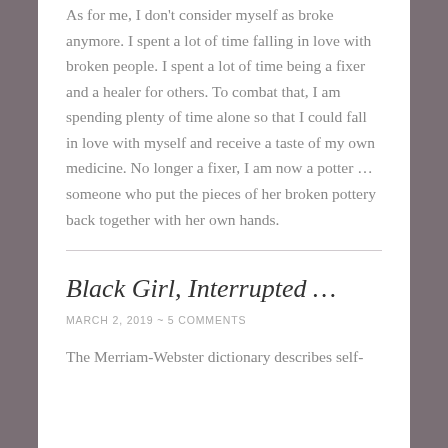As for me, I don't consider myself as broke anymore. I spent a lot of time falling in love with broken people. I spent a lot of time being a fixer and a healer for others. To combat that, I am spending plenty of time alone so that I could fall in love with myself and receive a taste of my own medicine. No longer a fixer, I am now a potter … someone who put the pieces of her broken pottery back together with her own hands.
Black Girl, Interrupted …
MARCH 2, 2019 ~ 5 COMMENTS
The Merriam-Webster dictionary describes self-